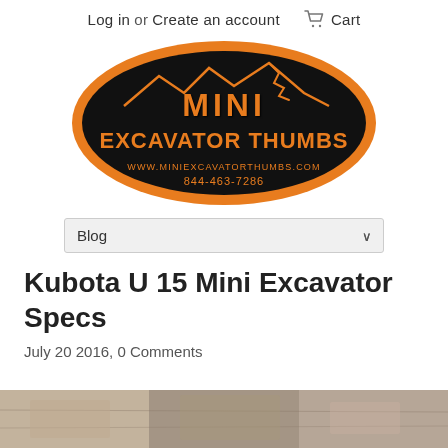Log in or Create an account   Cart
[Figure (logo): Mini Excavator Thumbs oval logo with orange and black design, showing excavator silhouette, text MINI EXCAVATOR THUMBS, website www.MiniExcavatorThumbs.com and phone 844-463-7286]
Blog
Kubota U 15 Mini Excavator Specs
July 20 2016, 0 Comments
[Figure (photo): Partial bottom strip showing a photo of equipment or excavator, cropped at bottom of page]